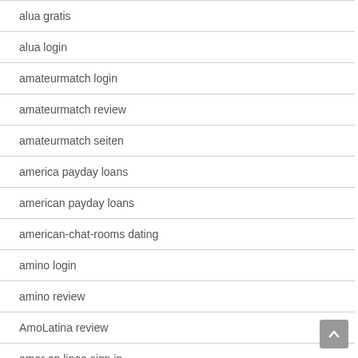alua gratis
alua login
amateurmatch login
amateurmatch review
amateurmatch seiten
america payday loans
american payday loans
american-chat-rooms dating
amino login
amino review
AmoLatina review
amor en linea sign in